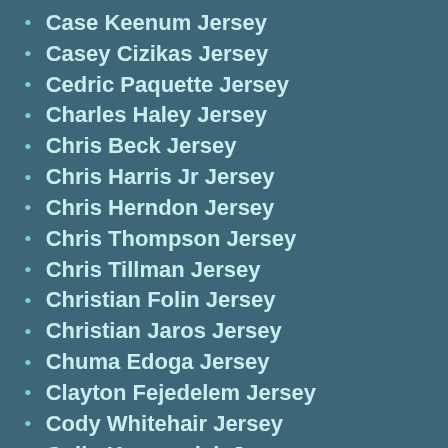Case Keenum Jersey
Casey Cizikas Jersey
Cedric Paquette Jersey
Charles Haley Jersey
Chris Beck Jersey
Chris Harris Jr Jersey
Chris Herndon Jersey
Chris Thompson Jersey
Chris Tillman Jersey
Christian Folin Jersey
Christian Jaros Jersey
Chuma Edoga Jersey
Clayton Fejedelem Jersey
Cody Whitehair Jersey
Colin Kaepernick Jersey
Conor Sheary Jersey
Corey Bojorquez Jersey